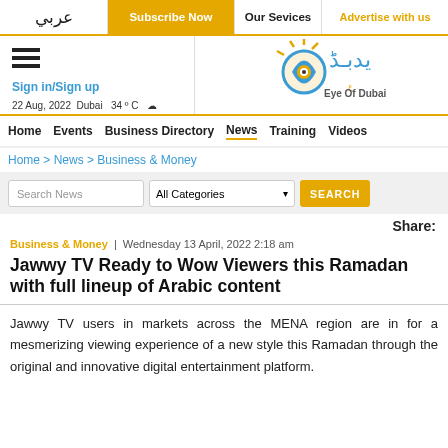عربي | Subscribe Now | Our Services | Advertise with us
[Figure (logo): Eye of Dubai logo with Arabic text and circular graphic]
22 Aug, 2022 Dubai  34 º C
Home | Events | Business Directory | News | Training | Videos
Home > News > Business & Money
Search News | All Categories | SEARCH
Share:
Business & Money | Wednesday 13 April, 2022 2:18 am
Jawwy TV Ready to Wow Viewers this Ramadan with full lineup of Arabic content
Jawwy TV users in markets across the MENA region are in for a mesmerizing viewing experience of a new style this Ramadan through the original and innovative digital entertainment platform.